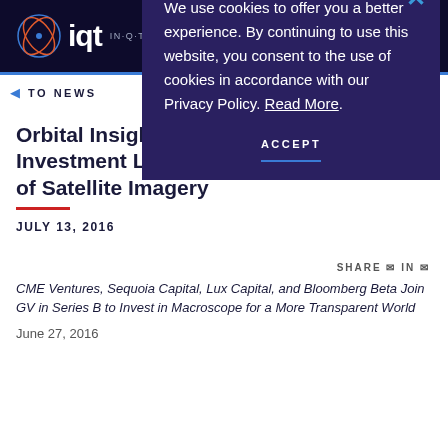IQT IN-Q-TEL
TO NEWS
Orbital Insight Announces $20 Million Investment Led by GV for Macro Analysis of Satellite Imagery
JULY 13, 2016
SHARE
CME Ventures, Sequoia Capital, Lux Capital, and Bloomberg Beta Join GV in Series B to Invest in Macroscope for a More Transparent World
June 27, 2016
We use cookies to offer you a better experience. By continuing to use this website, you consent to the use of cookies in accordance with our Privacy Policy. Read More.
ACCEPT